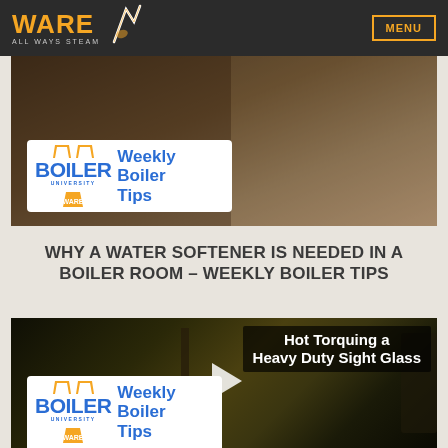WARE ALL WAYS STEAM | MENU
[Figure (screenshot): Video thumbnail for 'Why a Water Softener is Needed in a Boiler Room - Weekly Boiler Tips' with Boiler University Ware badge overlay]
WHY A WATER SOFTENER IS NEEDED IN A BOILER ROOM - WEEKLY BOILER TIPS
[Figure (screenshot): Video thumbnail for 'Hot Torquing a Heavy Duty Sight Glass - Weekly Boiler Tips' with play button and Boiler University Ware badge overlay]